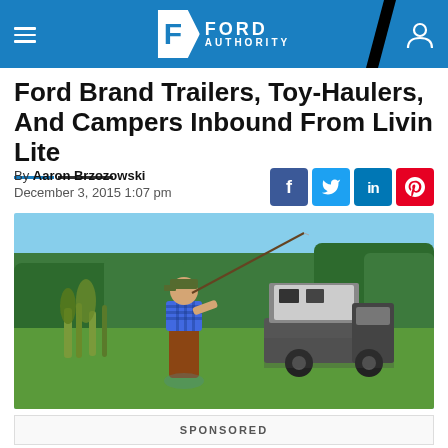Ford Authority
Ford Brand Trailers, Toy-Haulers, And Campers Inbound From Livin Lite
By Aaron Brzozowski
December 3, 2015 1:07 pm
[Figure (photo): Man in flannel shirt and waders holding a fishing rod near a pond, with a Ford truck with camper in the background on a green lawn with trees]
SPONSORED